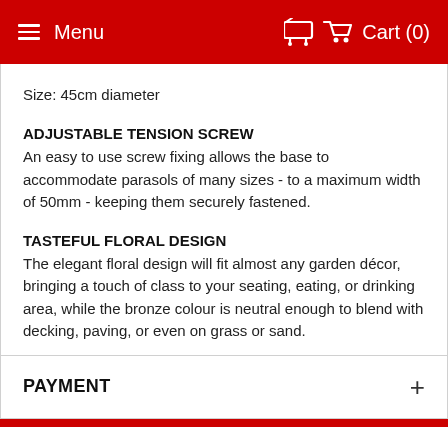Menu   Cart (0)
Size: 45cm diameter
ADJUSTABLE TENSION SCREW
An easy to use screw fixing allows the base to accommodate parasols of many sizes - to a maximum width of 50mm - keeping them securely fastened.
TASTEFUL FLORAL DESIGN
The elegant floral design will fit almost any garden décor, bringing a touch of class to your seating, eating, or drinking area, while the bronze colour is neutral enough to blend with decking, paving, or even on grass or sand.
PAYMENT